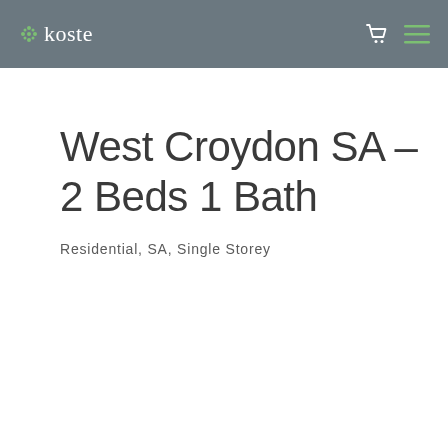koste
West Croydon SA – 2 Beds 1 Bath
Residential, SA, Single Storey